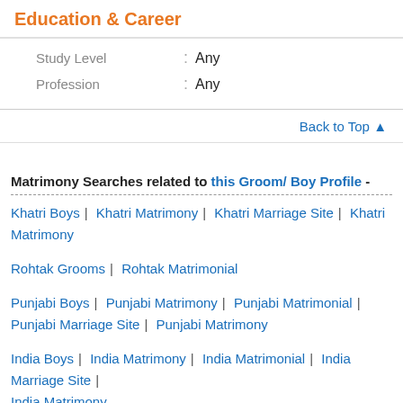Education & Career
| Field | Sep | Value |
| --- | --- | --- |
| Study Level | : | Any |
| Profession | : | Any |
Back to Top ↑
Matrimony Searches related to this Groom/ Boy Profile -
Khatri Boys | Khatri Matrimony | Khatri Marriage Site | Khatri Matrimony
Rohtak Grooms | Rohtak Matrimonial
Punjabi Boys | Punjabi Matrimony | Punjabi Matrimonial | Punjabi Marriage Site | Punjabi Matrimony
India Boys | India Matrimony | India Matrimonial | India Marriage Site | India Matrimony